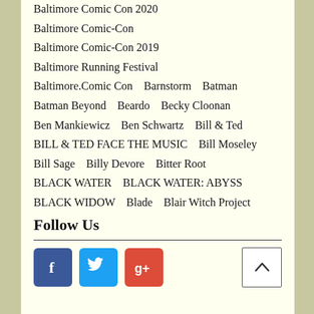Baltimore Comic Con 2020
Baltimore Comic-Con
Baltimore Comic-Con 2019
Baltimore Running Festival
Baltimore.Comic Con   Barnstorm   Batman
Batman Beyond   Beardo   Becky Cloonan
Ben Mankiewicz   Ben Schwartz   Bill & Ted
BILL & TED FACE THE MUSIC   Bill Moseley
Bill Sage   Billy Devore   Bitter Root
BLACK WATER   BLACK WATER: ABYSS
BLACK WIDOW   Blade   Blair Witch Project
Follow Us
[Figure (infographic): Social media buttons: Facebook (blue), Twitter (light blue), Google+ (red), and a back-to-top arrow button]